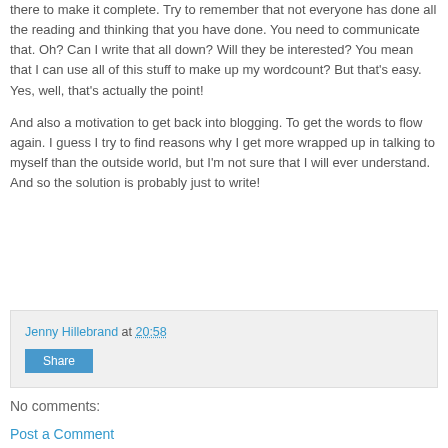there to make it complete. Try to remember that not everyone has done all the reading and thinking that you have done. You need to communicate that. Oh? Can I write that all down? Will they be interested? You mean that I can use all of this stuff to make up my wordcount? But that's easy. Yes, well, that's actually the point!
And also a motivation to get back into blogging. To get the words to flow again. I guess I try to find reasons why I get more wrapped up in talking to myself than the outside world, but I'm not sure that I will ever understand. And so the solution is probably just to write!
Jenny Hillebrand at 20:58
Share
No comments:
Post a Comment